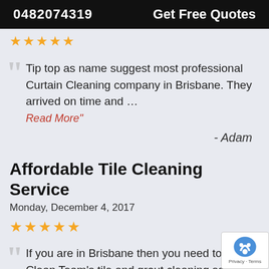0482074319    Get Free Quotes
★★★★★
Tip top as name suggest most professional Curtain Cleaning company in Brisbane. They arrived on time and … Read More"
- Adam
Affordable Tile Cleaning Service
Monday, December 4, 2017
★★★★★
If you are in Brisbane then you need to try T… Clean Team's tile and grout cleaning services…